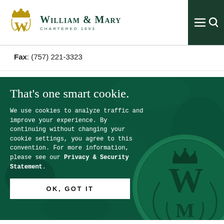[Figure (logo): William & Mary university logo with monogram and text 'WILLIAM & MARY CHARTERED 1693' in dark green and gold]
Fax: (757) 221-3323
[Figure (photo): Dark green background with a wax seal showing the William & Mary monogram (W&M with crown), overlaid with a cookie consent banner]
That’s one smart cookie.
We use cookies to analyze traffic and improve your experience. By continuing without changing your cookie settings, you agree to this convention. For more information, please see our Privacy & Security Statement.
OK, GOT IT